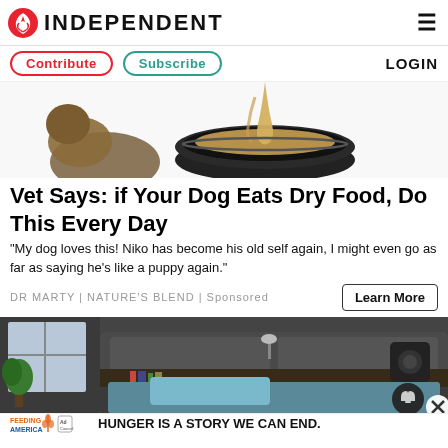INDEPENDENT
Contribute | Subscribe | LOGIN
[Figure (illustration): Illustration of dog food being poured into a metal bowl, with a dog in the background]
Vet Says: if Your Dog Eats Dry Food, Do This Every Day
"My dog loves this! Niko has become his old self again, I might even go as far as saying he's like a puppy again."
DR MARTY | NATURE'S BLEND | Sponsored
Learn More
[Figure (photo): Photo of a modern multifunctional bed with built-in bookshelves, lighting, and speakers in a dark grey bedroom]
[Figure (infographic): Feeding America ad banner: HUNGER IS A STORY WE CAN END.]